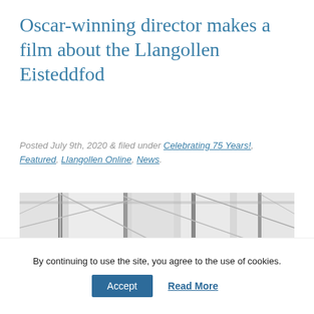Oscar-winning director makes a film about the Llangollen Eisteddfod
Posted July 9th, 2020 & filed under Celebrating 75 Years!, Featured, Llangollen Online, News.
[Figure (photo): Black and white photograph showing structural poles and tent/marquee framework, likely the Llangollen Eisteddfod venue]
By continuing to use the site, you agree to the use of cookies.